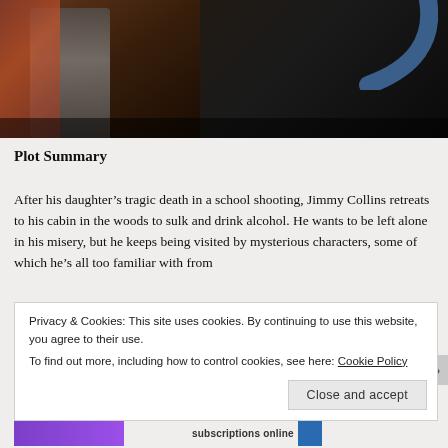[Figure (photo): Dark photo of a person partially visible, wearing a flannel shirt and turtleneck, with a blue curved graphic element in the upper right corner.]
Plot Summary
After his daughter’s tragic death in a school shooting, Jimmy Collins retreats to his cabin in the woods to sulk and drink alcohol. He wants to be left alone in his misery, but he keeps being visited by mysterious characters, some of which he’s all too familiar with from
Privacy & Cookies: This site uses cookies. By continuing to use this website, you agree to their use.
To find out more, including how to control cookies, see here: Cookie Policy
Close and accept
subscriptions online